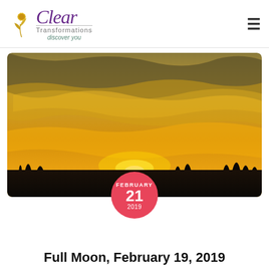[Figure (logo): Clear Transformations logo with flower illustration, purple cursive 'Clear' text, 'Transformations' subtitle, 'discover you' tagline]
[Figure (photo): Golden sunset sky panorama with dramatic clouds and dark silhouetted treeline. A pink/red circular date badge overlaid showing FEBRUARY 21 2019.]
Full Moon, February 19, 2019